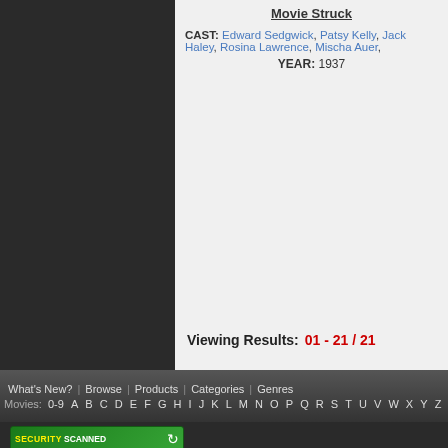Movie Struck
CAST: Edward Sedgwick, Patsy Kelly, Jack Haley, Rosina Lawrence, Mischa Auer,
YEAR: 1937
CAST: [Barrymore, Robson, Pa... Kyser Ba...]
Viewing Results: 01 - 21 / 21
What's New? | Browse | Products | Categories | Genres | Movies: 0-9 A B C D E F G H I J K L M N O P Q R S T U V W X Y Z